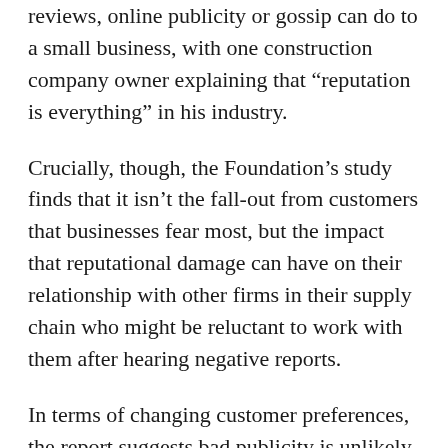reviews, online publicity or gossip can do to a small business, with one construction company owner explaining that “reputation is everything” in his industry.
Crucially, though, the Foundation’s study finds that it isn’t the fall-out from customers that businesses fear most, but the impact that reputational damage can have on their relationship with other firms in their supply chain who might be reluctant to work with them after hearing negative reports.
In terms of changing customer preferences, the report suggests bad publicity is unlikely to do firms long-term damage, or cause significant financial losses. The consensus among those surveyed was that, broadly speaking, consumers would always favour cheaper